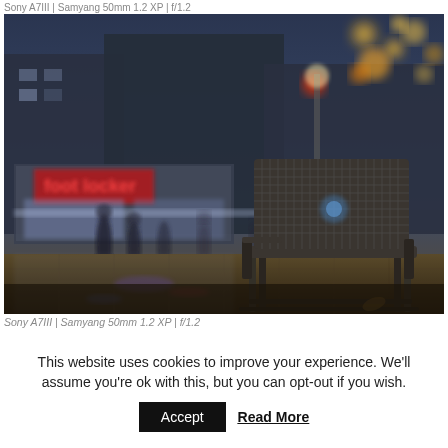Sony A7III | Samyang 50mm 1.2 XP | f/1.2
[Figure (photo): Night street photography scene showing a metal mesh bench/chair in the foreground on a city pedestrian street, with blurred bokeh lights, shop fronts including a red neon sign reading 'foot locker', people walking in background, warm amber street lighting, cool blue evening sky.]
Sony A7III | Samyang 50mm 1.2 XP | f/1.2
This website uses cookies to improve your experience. We'll assume you're ok with this, but you can opt-out if you wish.
Accept   Read More